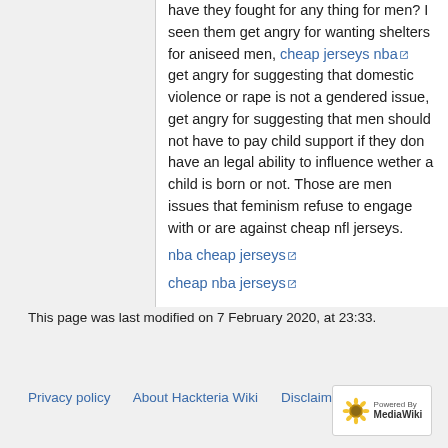have they fought for any thing for men? I seen them get angry for wanting shelters for aniseed men, cheap jerseys nba get angry for suggesting that domestic violence or rape is not a gendered issue, get angry for suggesting that men should not have to pay child support if they don have an legal ability to influence wether a child is born or not. Those are men issues that feminism refuse to engage with or are against cheap nfl jerseys.
nba cheap jerseys
cheap nba jerseys
This page was last modified on 7 February 2020, at 23:33.
Privacy policy  About Hackteria Wiki  Disclaimers